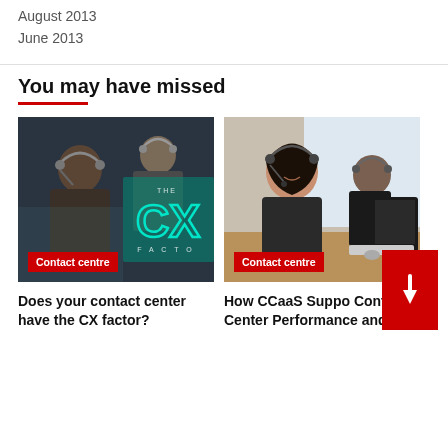August 2013
June 2013
You may have missed
[Figure (photo): Two call center workers wearing headsets; woman in foreground looking focused, man behind her; teal CX Factor logo overlay in background]
Contact centre
[Figure (photo): Female call center agent smiling at camera wearing headset; male agent in background at computer workstation]
Contact centre
Does your contact center have the CX factor?
How CCaaS Suppo Contact Center Performance and